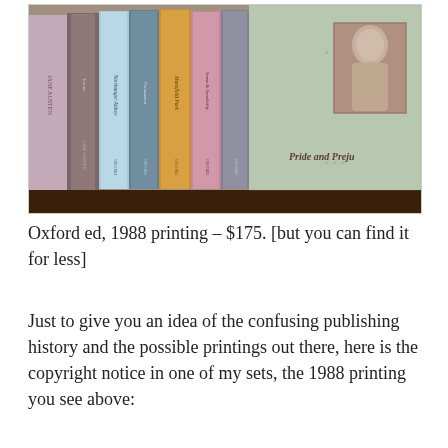[Figure (photo): Photo of a set of Jane Austen Oxford edition book spines arranged on a shelf, showing various colored spines including pink, grey, blue, teal, yellow, pink, and a decorative green cover of Pride and Prejudice with a portrait cameo.]
Oxford ed, 1988 printing – $175. [but you can find it for less]
Just to give you an idea of the confusing publishing history and the possible printings out there, here is the copyright notice in one of my sets, the 1988 printing you see above: